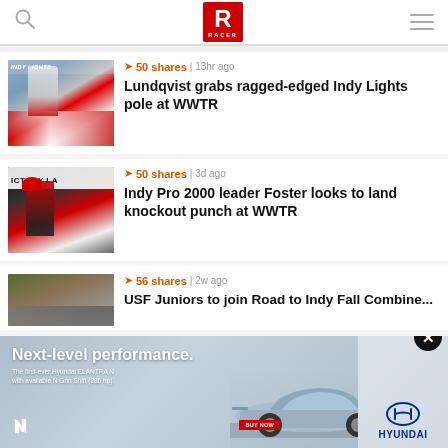RACER - navigation header with search and menu
[Figure (photo): Racing driver in white suit celebrating on track, arms raised, near an open-wheel race car]
50 shares | 13hr ago
Lundqvist grabs ragged-edged Indy Lights pole at WWTR
[Figure (photo): Racing driver in red cap and dark suit holding trophies in Victory Lane]
50 shares | 3d ago
Indy Pro 2000 leader Foster looks to land knockout punch at WWTR
[Figure (photo): Racing car on track, partially visible]
56 shares | 2w ago
USF Juniors to join Road to Indy Fall Combine...
[Figure (photo): Advertisement: Hyundai Elantra N car on track — Next-level performance. The first-ever Hyundai ELANTRA N with available N Grin Shift (286 hp). Hyundai logo.]